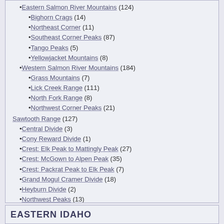Eastern Salmon River Mountains (124)
Bighorn Crags (14)
Northeast Corner (11)
Southeast Corner Peaks (87)
Tango Peaks (5)
Yellowjacket Mountains (8)
Western Salmon River Mountains (184)
Grass Mountains (7)
Lick Creek Range (111)
North Fork Range (8)
Northwest Corner Peaks (21)
Sawtooth Range (127)
Central Divide (3)
Cony Reward Divide (1)
Crest: Elk Peak to Mattingly Peak (27)
Crest: McGown to Alpen Peak (35)
Crest: Packrat Peak to Elk Peak (7)
Grand Mogul Cramer Divide (18)
Heyburn Divide (2)
Northwest Peaks (13)
Queens Divide (9)
Verita Ridge (10)
Seven Devils Mountains (33)
Smoky Mountains (51)
Soldier Mountains (26)
West Mountains (36)
EASTERN IDAHO